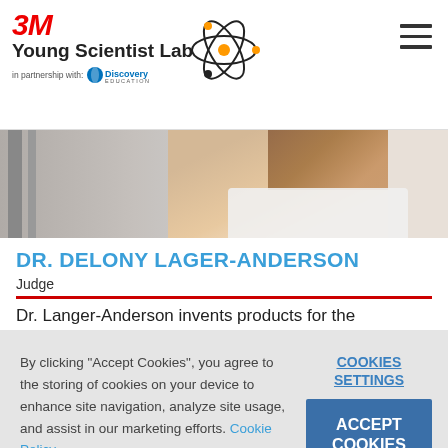[Figure (logo): 3M Young Scientist Lab logo with atom graphic and Discovery Education partnership text]
[Figure (photo): Partial photo of Dr. Delony Lager-Anderson, a woman with brown hair wearing a white lab coat]
DR. DELONY LAGER-ANDERSON
Judge
Dr. Langer-Anderson invents products for the
By clicking "Accept Cookies", you agree to the storing of cookies on your device to enhance site navigation, analyze site usage, and assist in our marketing efforts. Cookie Policy
COOKIES SETTINGS
ACCEPT COOKIES